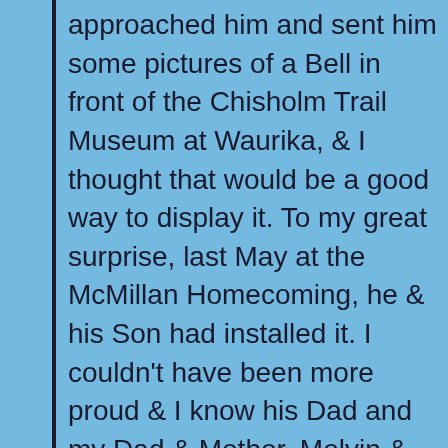approached him and sent him some pictures of a Bell in front of the Chisholm Trail Museum at Waurika, & I thought that would be a good way to display it. To my great surprise, last May at the McMillan Homecoming, he & his Son had installed it. I couldn't have been more proud & I know his Dad and my Dad & Mother, Melvin & Iva (Harrell) Gardner, all started school there about 1914, would be equally proud. Butch, the is the bell that came from the McMillan School. But I know about the Tyler School Bell too. I believe a man by the name of Dall Peoples has the Tyler School Bell at his home about a mile North of the McMillan Road on Yellow Hills Road. I believe that is the correct name of the Road. Too bad it wasn't displayed in front of the